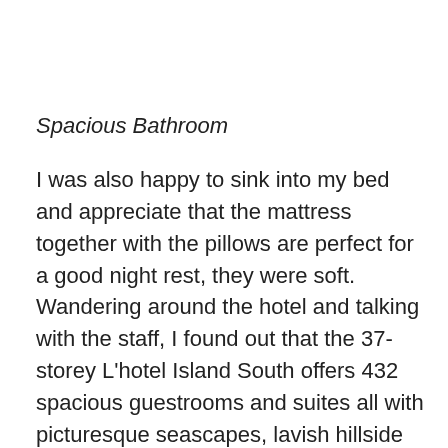Spacious Bathroom
I was also happy to sink into my bed and appreciate that the mattress together with the pillows are perfect for a good night rest, they were soft. Wandering around the hotel and talking with the staff, I found out that the 37-storey L'hotel Island South offers 432 spacious guestrooms and suites all with picturesque seascapes, lavish hillside vistas or views overlooking the city that aim to redefine conservative notions of ease, service and stylishness. The hotel wants to cuddle the lifestyle that welcomes minimalism, convenience and